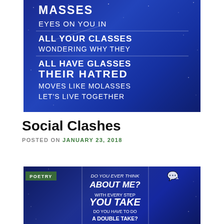[Figure (illustration): Blue starry sky background image with white text poem lines: MASSES / EYES ON YOU IN / ALL YOUR CLASSES / WONDERING WHY THEY / ALL HAVE GLASSES / THEIR HATRED / MOVES LIKE MOLASSES / LET'S LIVE TOGETHER]
Social Clashes
POSTED ON JANUARY 23, 2018
[Figure (illustration): Blue starry sky background image with white handwritten text: DO YOU EVER THINK / ABOUT ME? / WITH EVERY STEP / YOU TAKE / DO YOU HAVE TO DO / A DOUBLE TAKE? POETRY badge in green and comment icon with 1.]